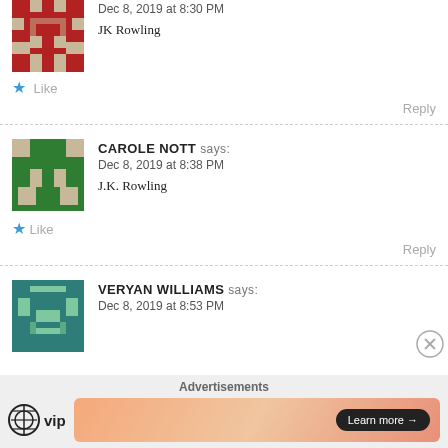[Figure (illustration): Red pixel-art avatar icon for first commenter]
Dec 8, 2019 at 8:30 PM
JK Rowling
★ Like
Reply
[Figure (illustration): Green pixel-art avatar icon for CAROLE NOTT]
CAROLE NOTT says:
Dec 8, 2019 at 8:38 PM
J.K. Rowling
★ Like
Reply
[Figure (illustration): Teal pixel-art avatar icon for VERYAN WILLIAMS]
VERYAN WILLIAMS says:
Dec 8, 2019 at 8:53 PM
Advertisements
[Figure (logo): WordPress VIP logo and Learn more advertisement banner]